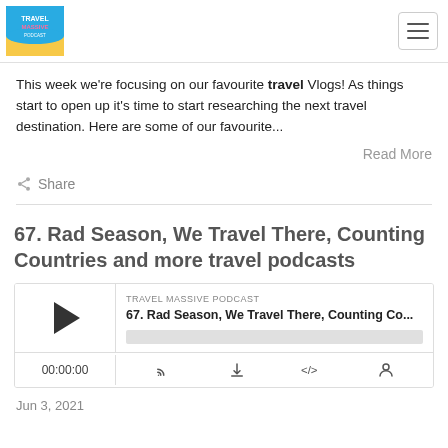Travel Massive Podcast logo and navigation
This week we're focusing on our favourite travel Vlogs! As things start to open up it's time to start researching the next travel destination. Here are some of our favourite...
Read More
Share
67. Rad Season, We Travel There, Counting Countries and more travel podcasts
[Figure (other): Podcast player widget with play button, episode title '67. Rad Season, We Travel There, Counting Co...', progress bar, time display 00:00:00, and control icons]
Jun 3, 2021